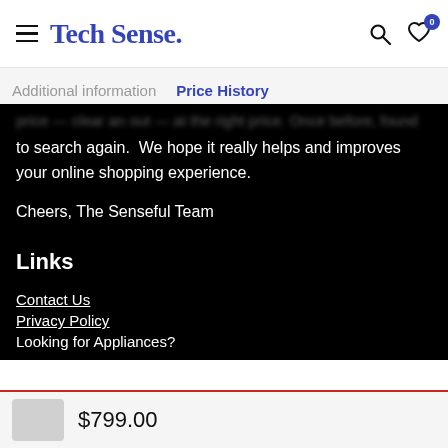Tech Sense.
Additional information  Price History
to search again.  We hope it really helps and improves your online shopping experience.
Cheers, The Senseful Team
Links
Contact Us
Privacy Policy
Looking for Appliances?
$799.00